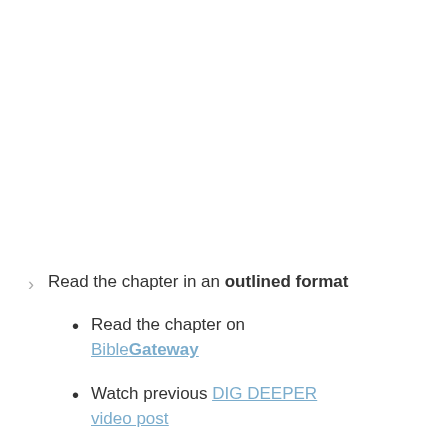Read the chapter in an outlined format
Read the chapter on BibleGateway
Watch previous DIG DEEPER video post